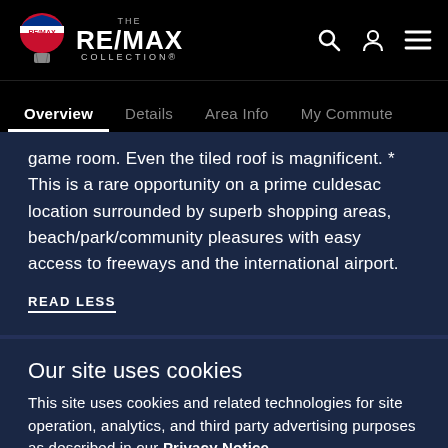THE RE/MAX COLLECTION
Overview | Details | Area Info | My Commute
game room. Even the tiled roof is magnificent. * This is a rare opportunity on a prime culdesac location surrounded by superb shopping areas, beach/park/community pleasures with easy access to freeways and the international airport.
READ LESS
Our site uses cookies
This site uses cookies and related technologies for site operation, analytics, and third party advertising purposes as described in our Privacy Notice .
ACCEPT